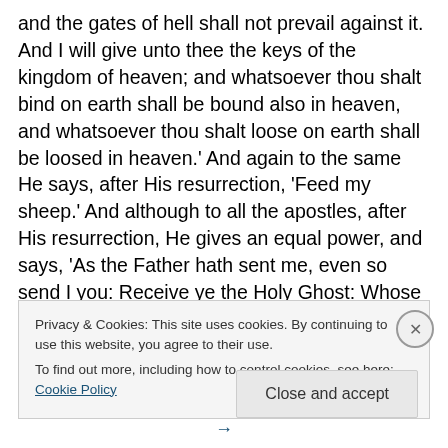and the gates of hell shall not prevail against it. And I will give unto thee the keys of the kingdom of heaven; and whatsoever thou shalt bind on earth shall be bound also in heaven, and whatsoever thou shalt loose on earth shall be loosed in heaven.' And again to the same He says, after His resurrection, 'Feed my sheep.' And although to all the apostles, after His resurrection, He gives an equal power, and says, 'As the Father hath sent me, even so send I you: Receive ye the Holy Ghost: Whose soever sins ye remit, they shall be remitted unto him; and whose soever sins ye retain, they shall be retained;' yet, that He might
Privacy & Cookies: This site uses cookies. By continuing to use this website, you agree to their use.
To find out more, including how to control cookies, see here: Cookie Policy
Close and accept